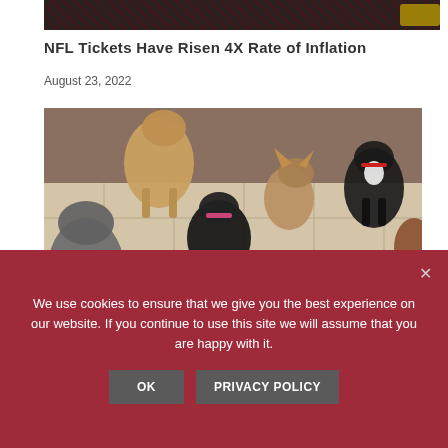[Figure (photo): Partial top of an image showing a dark background with a gold badge/logo — appears to be NFL-related merchandise or signage]
NFL Tickets Have Risen 4X Rate of Inflation
August 23, 2022
[Figure (photo): Multiple dogs of various breeds eating from bowls on a beige tile floor indoors]
We use cookies to ensure that we give you the best experience on our website. If you continue to use this site we will assume that you are happy with it.
OK    PRIVACY POLICY